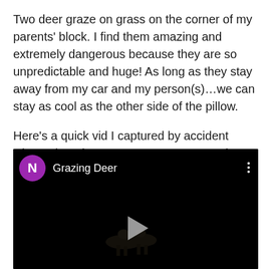Two deer graze on grass on the corner of my parents' block. I find them amazing and extremely dangerous because they are so unpredictable and huge! As long as they stay away from my car and my person(s)…we can stay as cool as the other side of the pillow.

Here's a quick vid I captured by accident when I thought my camera was set on photo taking.
[Figure (screenshot): A dark video thumbnail showing 'Grazing Deer' with a purple avatar circle with letter N, a play button in the center, and a faint nighttime scene at the bottom.]